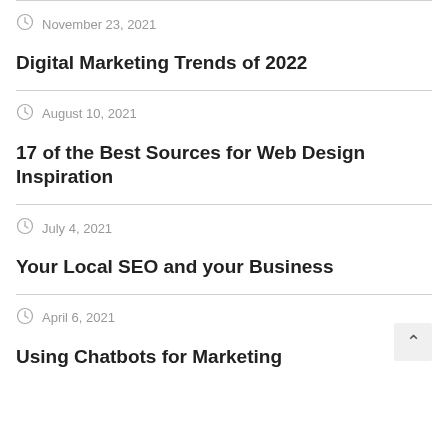November 23, 2021
Digital Marketing Trends of 2022
August 10, 2021
17 of the Best Sources for Web Design Inspiration
July 4, 2021
Your Local SEO and your Business
April 6, 2021
Using Chatbots for Marketing